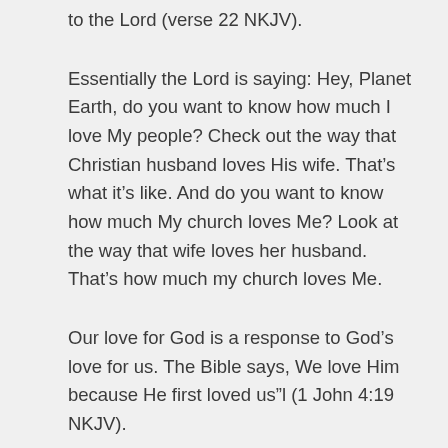to the Lord (verse 22 NKJV).
Essentially the Lord is saying: Hey, Planet Earth, do you want to know how much I love My people? Check out the way that Christian husband loves His wife. That’s what it’s like. And do you want to know how much My church loves Me? Look at the way that wife loves her husband. That’s how much my church loves Me.
Our love for God is a response to God’s love for us. The Bible says, We love Him because He first loved us” l (1 John 4:19 NKJV).
Despite our sinfulness, wickedness, and shortcomings, despite all the horrible things we’ve done, God loves us. And His love wins us